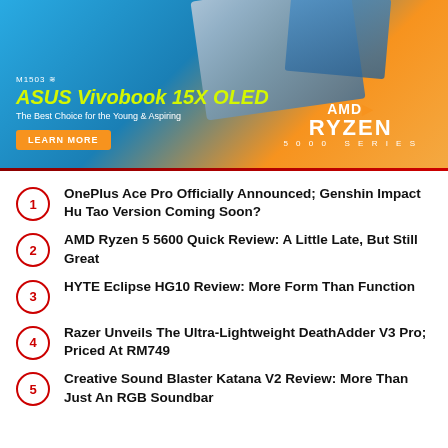[Figure (illustration): ASUS Vivobook 15X OLED advertisement banner with laptop image, AMD Ryzen 5000 Series logo, yellow-green product title text, orange LEARN MORE button on cyan/orange gradient background. Model M1503. Tagline: The Best Choice for the Young & Aspiring.]
1. OnePlus Ace Pro Officially Announced; Genshin Impact Hu Tao Version Coming Soon?
2. AMD Ryzen 5 5600 Quick Review: A Little Late, But Still Great
3. HYTE Eclipse HG10 Review: More Form Than Function
4. Razer Unveils The Ultra-Lightweight DeathAdder V3 Pro; Priced At RM749
5. Creative Sound Blaster Katana V2 Review: More Than Just An RGB Soundbar